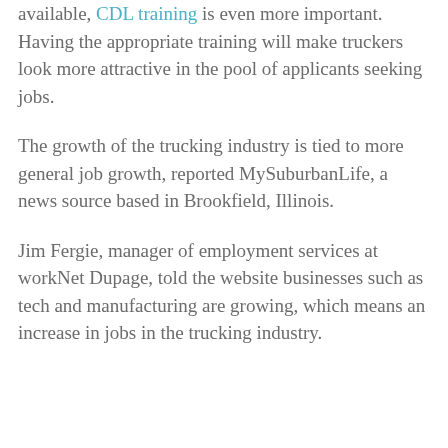available, CDL training is even more important. Having the appropriate training will make truckers look more attractive in the pool of applicants seeking jobs.
The growth of the trucking industry is tied to more general job growth, reported MySuburbanLife, a news source based in Brookfield, Illinois.
Jim Fergie, manager of employment services at workNet Dupage, told the website businesses such as tech and manufacturing are growing, which means an increase in jobs in the trucking industry.